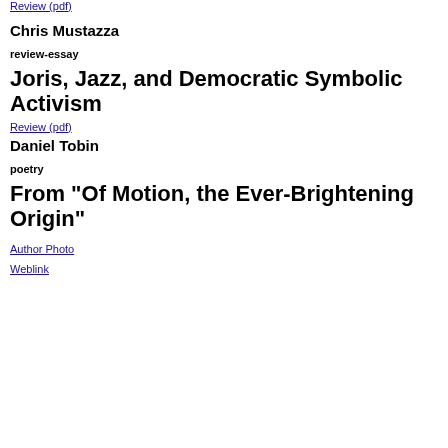Review (pdf)
Chris Mustazza
review-essay
Joris, Jazz, and Democratic Symbolic Activism
Review (pdf)
Daniel Tobin
poetry
From "Of Motion, the Ever-Brightening Origin"
Author Photo
Weblink